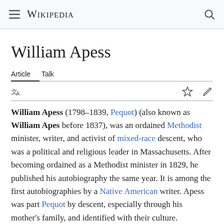Wikipedia
William Apess
Article   Talk
William Apess (1798–1839, Pequot) (also known as William Apes before 1837), was an ordained Methodist minister, writer, and activist of mixed-race descent, who was a political and religious leader in Massachusetts. After becoming ordained as a Methodist minister in 1829, he published his autobiography the same year. It is among the first autobiographies by a Native American writer. Apess was part Pequot by descent, especially through his mother's family, and identified with their culture.